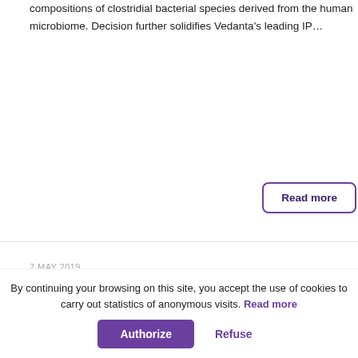compositions of clostridial bacterial species derived from the human microbiome. Decision further solidifies Vedanta's leading IP…
Read more
7 MAY 2019
Seventure Partners invests $3,4m in the British remittance company TransferGo
By continuing your browsing on this site, you accept the use of cookies to carry out statistics of anonymous visits. Read more
Authorize
Refuse